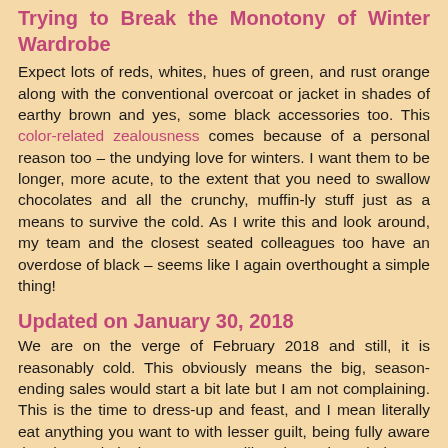Trying to Break the Monotony of Winter Wardrobe
Expect lots of reds, whites, hues of green, and rust orange along with the conventional overcoat or jacket in shades of earthy brown and yes, some black accessories too. This color-related zealousness comes because of a personal reason too – the undying love for winters. I want them to be longer, more acute, to the extent that you need to swallow chocolates and all the crunchy, muffin-ly stuff just as a means to survive the cold. As I write this and look around, my team and the closest seated colleagues too have an overdose of black – seems like I again overthought a simple thing!
Updated on January 30, 2018
We are on the verge of February 2018 and still, it is reasonably cold. This obviously means the big, season-ending sales would start a bit late but I am not complaining. This is the time to dress-up and feast, and I mean literally eat anything you want to with lesser guilt, being fully aware that the soul-sipping summers will suck-out the calories out of you. I did a rough count and turns out, I have a rather